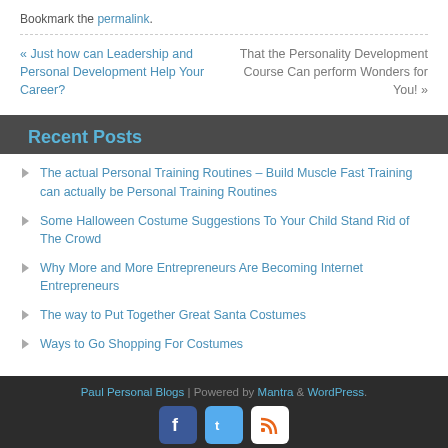Bookmark the permalink.
« Just how can Leadership and Personal Development Help Your Career?
That the Personality Development Course Can perform Wonders for You! »
Recent Posts
The actual Personal Training Routines – Build Muscle Fast Training can actually be Personal Training Routines
Some Halloween Costume Suggestions To Your Child Stand Rid of The Crowd
Why More and More Entrepreneurs Are Becoming Internet Entrepreneurs
The way to Put Together Great Santa Costumes
Ways to Go Shopping For Costumes
Paul Personal Blogs | Powered by Mantra & WordPress.